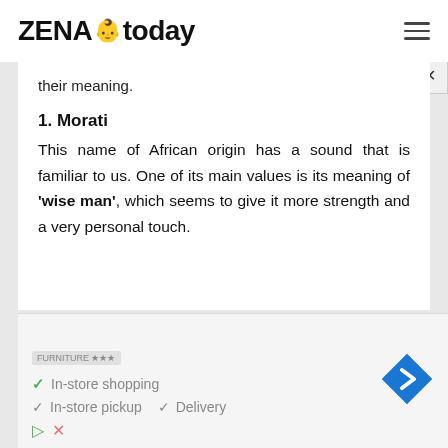ZENA today
their meaning.
1. Morati
This name of African origin has a sound that is familiar to us. One of its main values is its meaning of 'wise man', which seems to give it more strength and a very personal touch.
[Figure (other): Advertisement banner: Furniture store ad with checkmarks for In-store shopping, In-store pickup, and Delivery, with a navigation arrow icon]